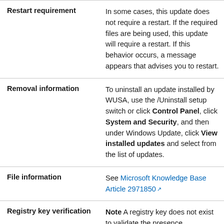|  |  |
| --- | --- |
| Restart requirement | In some cases, this update does not require a restart. If the required files are being used, this update will require a restart. If this behavior occurs, a message appears that advises you to restart. |
| Removal information | To uninstall an update installed by WUSA, use the /Uninstall setup switch or click Control Panel, click System and Security, and then under Windows Update, click View installed updates and select from the list of updates. |
| File information | See Microsoft Knowledge Base Article 2971850 |
| Registry key verification | Note A registry key does not exist to validate the presence |